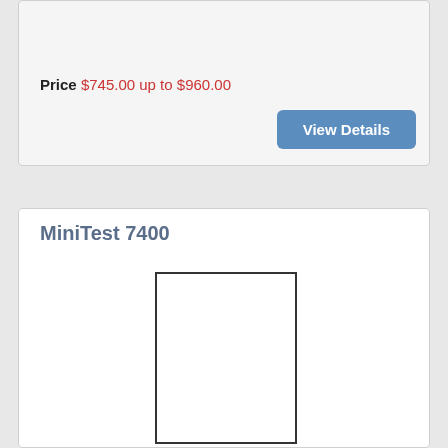Price $745.00 up to $960.00
[Figure (other): View Details button - blue rounded rectangle button]
MiniTest 7400
[Figure (photo): Product image placeholder - empty white rectangle with black border]